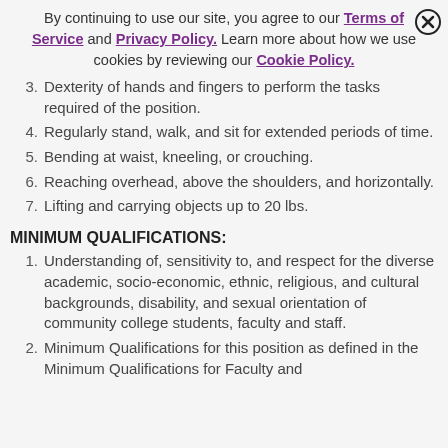By continuing to use our site, you agree to our Terms of Service and Privacy Policy. Learn more about how we use cookies by reviewing our Cookie Policy.
3. Dexterity of hands and fingers to perform the tasks required of the position.
4. Regularly stand, walk, and sit for extended periods of time.
5. Bending at waist, kneeling, or crouching.
6. Reaching overhead, above the shoulders, and horizontally.
7. Lifting and carrying objects up to 20 lbs.
MINIMUM QUALIFICATIONS:
1. Understanding of, sensitivity to, and respect for the diverse academic, socio-economic, ethnic, religious, and cultural backgrounds, disability, and sexual orientation of community college students, faculty and staff.
2. Minimum Qualifications for this position as defined in the Minimum Qualifications for Faculty and